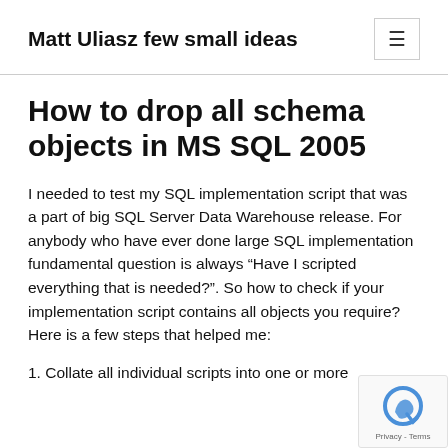Matt Uliasz few small ideas
How to drop all schema objects in MS SQL 2005
I needed to test my SQL implementation script that was a part of big SQL Server Data Warehouse release. For anybody who have ever done large SQL implementation fundamental question is always “Have I scripted everything that is needed?”. So how to check if your implementation script contains all objects you require? Here is a few steps that helped me:
1. Collate all individual scripts into one or more